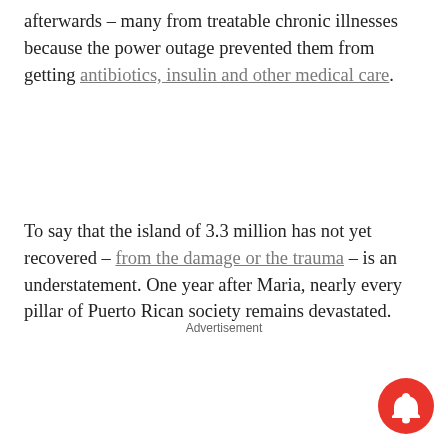afterwards – many from treatable chronic illnesses because the power outage prevented them from getting antibiotics, insulin and other medical care.
To say that the island of 3.3 million has not yet recovered – from the damage or the trauma – is an understatement. One year after Maria, nearly every pillar of Puerto Rican society remains devastated.
Advertisement